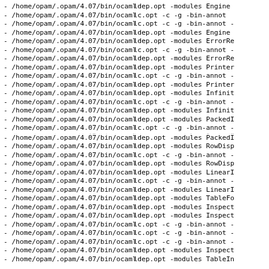- /home/opam/.opam/4.07/bin/ocamldep.opt -modules Engine
- /home/opam/.opam/4.07/bin/ocamlc.opt -c -g -bin-annot
- /home/opam/.opam/4.07/bin/ocamlc.opt -c -g -bin-annot -
- /home/opam/.opam/4.07/bin/ocamldep.opt -modules Engine
- /home/opam/.opam/4.07/bin/ocamldep.opt -modules ErrorRe
- /home/opam/.opam/4.07/bin/ocamlc.opt -c -g -bin-annot -
- /home/opam/.opam/4.07/bin/ocamldep.opt -modules ErrorRe
- /home/opam/.opam/4.07/bin/ocamldep.opt -modules Printer
- /home/opam/.opam/4.07/bin/ocamlc.opt -c -g -bin-annot -
- /home/opam/.opam/4.07/bin/ocamldep.opt -modules Printer
- /home/opam/.opam/4.07/bin/ocamldep.opt -modules Infinit
- /home/opam/.opam/4.07/bin/ocamlc.opt -c -g -bin-annot -
- /home/opam/.opam/4.07/bin/ocamldep.opt -modules Infinit
- /home/opam/.opam/4.07/bin/ocamldep.opt -modules PackedI
- /home/opam/.opam/4.07/bin/ocamlc.opt -c -g -bin-annot -
- /home/opam/.opam/4.07/bin/ocamldep.opt -modules PackedI
- /home/opam/.opam/4.07/bin/ocamldep.opt -modules RowDisp
- /home/opam/.opam/4.07/bin/ocamlc.opt -c -g -bin-annot -
- /home/opam/.opam/4.07/bin/ocamldep.opt -modules RowDisp
- /home/opam/.opam/4.07/bin/ocamldep.opt -modules LinearI
- /home/opam/.opam/4.07/bin/ocamlc.opt -c -g -bin-annot -
- /home/opam/.opam/4.07/bin/ocamldep.opt -modules LinearI
- /home/opam/.opam/4.07/bin/ocamldep.opt -modules TableFo
- /home/opam/.opam/4.07/bin/ocamldep.opt -modules Inspect
- /home/opam/.opam/4.07/bin/ocamldep.opt -modules Inspect
- /home/opam/.opam/4.07/bin/ocamlc.opt -c -g -bin-annot -
- /home/opam/.opam/4.07/bin/ocamlc.opt -c -g -bin-annot -
- /home/opam/.opam/4.07/bin/ocamlc.opt -c -g -bin-annot -
- /home/opam/.opam/4.07/bin/ocamldep.opt -modules Inspect
- /home/opam/.opam/4.07/bin/ocamldep.opt -modules TableIn